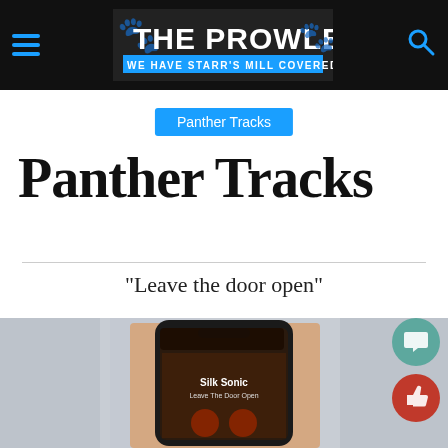THE PROWLER — WE HAVE STARR'S MILL COVERED
Panther Tracks
Panther Tracks
“Leave the door open”
[Figure (photo): A hand holding a smartphone displaying the Silk Sonic 'Leave The Door Open' song on a music app, with school lockers blurred in the background.]